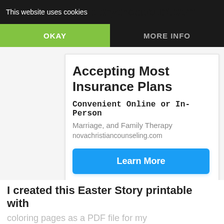This website uses cookies   dbeyondadoubt.com
OKAY
MORE INFO
Accepting Most Insurance Plans
Convenient Online or In-Person
Marriage, and Family Therapy
novachristiancounseling.com
Learn More
I created this Easter Story printable with coloring pages as a PDF file for my email subscribers to download.